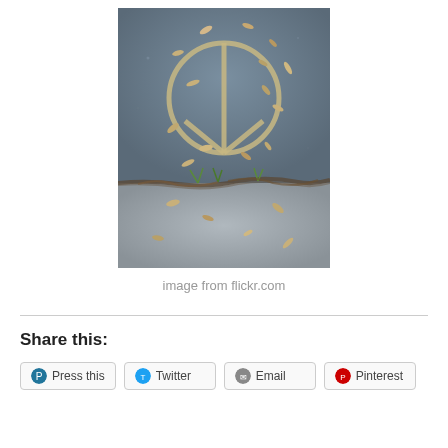[Figure (photo): A photograph of a peace sign etched or painted on concrete pavement, surrounded by scattered autumn leaves and seeds. A crack in the concrete runs horizontally through the lower portion of the image with small plants growing from it.]
image from flickr.com
Share this: